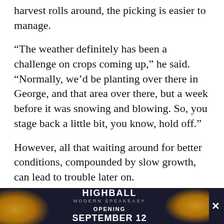harvest rolls around, the picking is easier to manage.
“The weather definitely has been a challenge on crops coming up,” he said. “Normally, we’d be planting over there in George, and that area over there, but a week before it was snowing and blowing. So, you stage back a little bit, you know, hold off.”
However, all that waiting around for better conditions, compounded by slow growth, can lead to trouble later on.
You look at when you planted it, and how long it might have taken some of the seed to germinate, and there could be a crowding of corn,” Bruketta said. “That would be where it would be harvested close together; there’s a bigger abundance of it at one time. That can sometimes work a… es in one da… nd of
[Figure (other): Advertisement banner for Highball Modern Speakeasy, opening September 12, with dark background and orange orb decorations. Includes a close (X) button.]